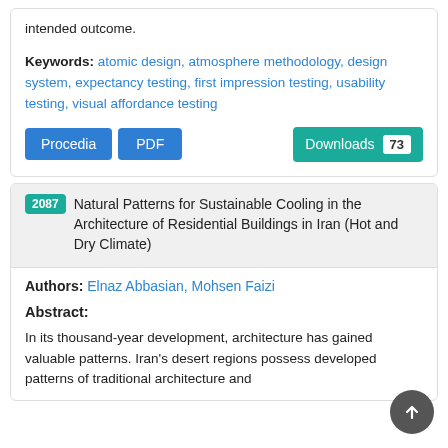intended outcome.
Keywords: atomic design, atmosphere methodology, design system, expectancy testing, first impression testing, usability testing, visual affordance testing
Procedia | PDF | Downloads 73
2087 Natural Patterns for Sustainable Cooling in the Architecture of Residential Buildings in Iran (Hot and Dry Climate)
Authors: Elnaz Abbasian, Mohsen Faizi
Abstract:
In its thousand-year development, architecture has gained valuable patterns. Iran's desert regions possess developed patterns of traditional architecture and